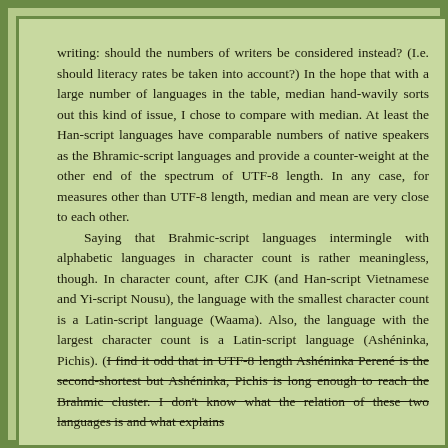writing: should the numbers of writers be considered instead? (I.e. should literacy rates be taken into account?) In the hope that with a large number of languages in the table, median hand-wavily sorts out this kind of issue, I chose to compare with median. At least the Han-script languages have comparable numbers of native speakers as the Bhramic-script languages and provide a counter-weight at the other end of the spectrum of UTF-8 length. In any case, for measures other than UTF-8 length, median and mean are very close to each other.

Saying that Brahmic-script languages intermingle with alphabetic languages in character count is rather meaningless, though. In character count, after CJK (and Han-script Vietnamese and Yi-script Nousu), the language with the smallest character count is a Latin-script language (Waama). Also, the language with the largest character count is a Latin-script language (Ashéninka, Pichis). (I find it odd that in UTF-8 length Ashéninka Perené is the second-shortest but Ashéninka, Pichis is long enough to reach the Brahmic cluster. I don't know what the relation of these two languages is and what explains